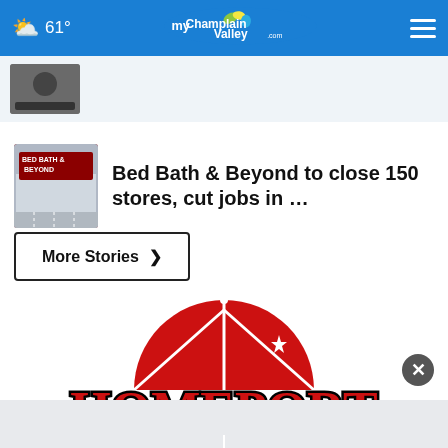61° myChamplainValley.com
[Figure (screenshot): Partially visible article thumbnail with dark image]
Bed Bath & Beyond to close 150 stores, cut jobs in …
More Stories ›
[Figure (logo): Homeport Burlington VT logo — red semicircle with HOMEPORT text and reflection showing BURLINGTON VT]